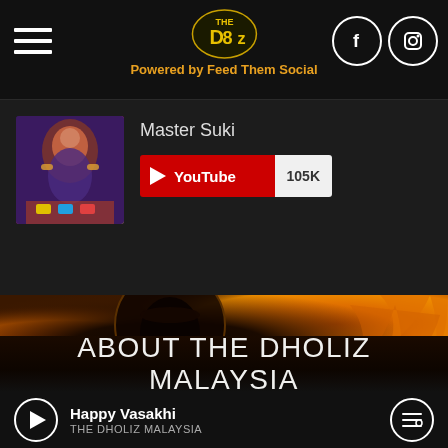The Dholiz — Powered by Feed Them Social
[Figure (screenshot): Social media feed widget showing Master Suki YouTube channel with 105K subscribers, embedded in a dark-themed website for The Dholiz Malaysia]
Master Suki
YouTube 105K
[Figure (photo): Fire and silhouette banner image for The Dholiz Malaysia — circular dhol drum silhouette surrounded by flames with crowd hands raised]
ABOUT THE DHOLIZ MALAYSIA
Dhol & Bhangra in Malaysia & Singapore – The Dholiz Malaysia!
Happy Vasakhi — THE DHOLIZ MALAYSIA